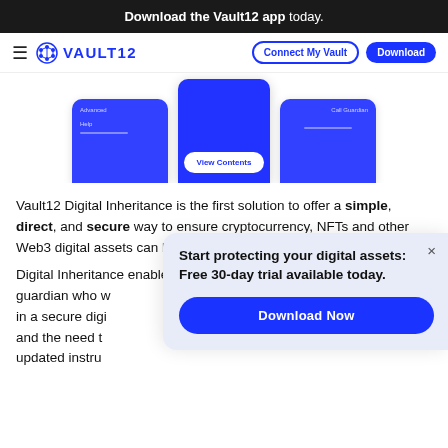Download the Vault12 app today.
[Figure (screenshot): Vault12 navigation bar with hamburger menu, Vault12 logo, Connect My Vault outline button, and Download solid blue button]
[Figure (screenshot): Three overlapping mobile phone screens showing Vault12 app interfaces: left screen with Advanced and Help menu items, center screen with View Contents button, right screen with Call Guardian label]
Vault12 Digital Inheritance is the first solution to offer a simple, direct, and secure way to ensure cryptocurrency, NFTs and other Web3 digital assets can be inherited by future generations.
Digital Inheritance enables investors to designate an individual guardian who w... in a secure digi... and the need t... updated instru...
Start protecting your digital assets: Free 30-day trial available today.
Download Now
Learn...